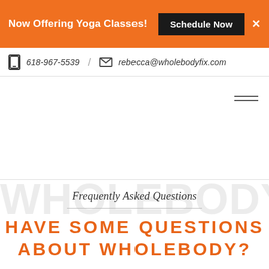Now Offering Yoga Classes! Schedule Now ×
618-967-5539 / rebecca@wholebodyfix.com
[Figure (other): Hamburger menu icon (three horizontal lines)]
WHOLEBODY (watermark background text)
Frequently Asked Questions
HAVE SOME QUESTIONS ABOUT WHOLEBODY?